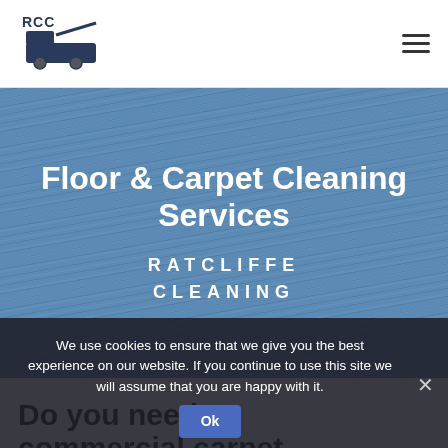[Figure (logo): RCC logo with cleaning machine icon, dark blue and grey tones]
Floor & Carpet Cleaning Services
RATCLIFFE CLEANING
We use cookies to ensure that we give you the best experience on our website. If you continue to use this site we will assume that you are happy with it.
Do you need commercial carpet